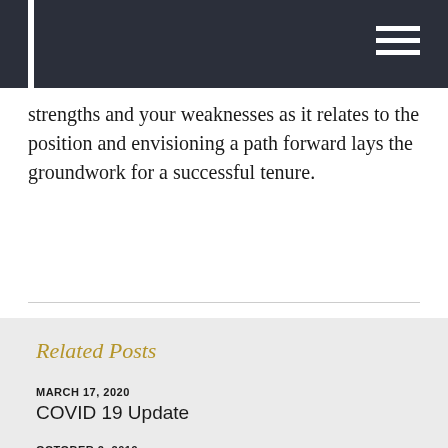strengths and your weaknesses as it relates to the position and envisioning a path forward lays the groundwork for a successful tenure.
Related Posts
MARCH 17, 2020
COVID 19 Update
OCTOBER 2, 2019
Budgetary Responsibilities: Maintaining Work...